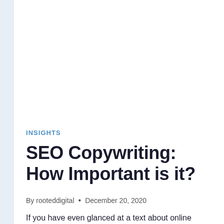INSIGHTS
SEO Copywriting: How Important is it?
By rooteddigital • December 20, 2020
If you have even glanced at a text about online